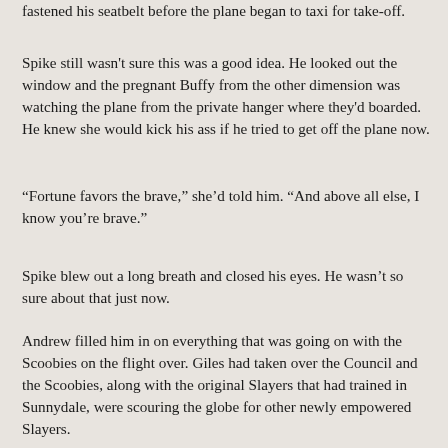fastened his seatbelt before the plane began to taxi for take-off.
Spike still wasn't sure this was a good idea. He looked out the window and the pregnant Buffy from the other dimension was watching the plane from the private hanger where they'd boarded. He knew she would kick his ass if he tried to get off the plane now.
“Fortune favors the brave,” she’d told him. “And above all else, I know you’re brave.”
Spike blew out a long breath and closed his eyes. He wasn’t so sure about that just now.
Andrew filled him in on everything that was going on with the Scoobies on the flight over. Giles had taken over the Council and the Scoobies, along with the original Slayers that had trained in Sunnydale, were scouring the globe for other newly empowered Slayers.